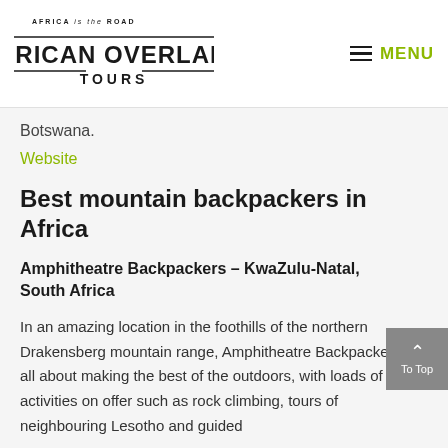AFRICA is the ROAD | AFRICAN OVERLAND TOURS | MENU
Botswana.
Website
Best mountain backpackers in Africa
Amphitheatre Backpackers – KwaZulu-Natal, South Africa
In an amazing location in the foothills of the northern Drakensberg mountain range, Amphitheatre Backpackers is all about making the best of the outdoors, with loads of activities on offer such as rock climbing, tours of neighbouring Lesotho and guided